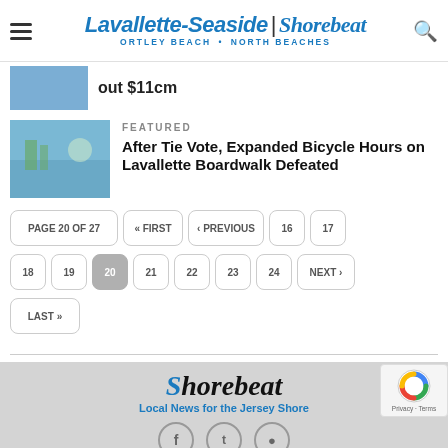Lavallette-Seaside | Shorebeat — ORTLEY BEACH • NORTH BEACHES
out $11cm
FEATURED
After Tie Vote, Expanded Bicycle Hours on Lavallette Boardwalk Defeated
PAGE 20 OF 27
« FIRST
‹ PREVIOUS
16
17
18
19
20
21
22
23
24
NEXT ›
LAST »
Shorebeat — Local News for the Jersey Shore